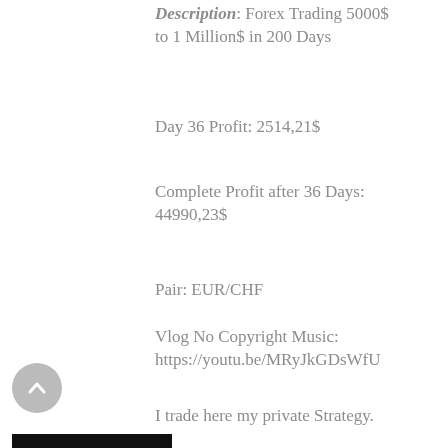Description: Forex Trading 5000$ to 1 Million$ in 200 Days
Day 36 Profit: 2514,21$
Complete Profit after 36 Days: 44990,23$
Pair: EUR/CHF
Vlog No Copyright Music: https://youtu.be/MRyJkGDsWfU
I trade here my private Strategy.